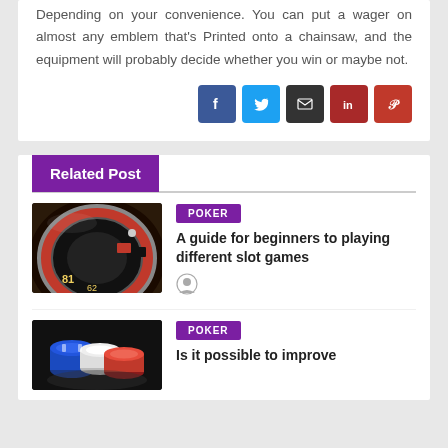Depending on your convenience. You can put a wager on almost any emblem that's Printed onto a chainsaw, and the equipment will probably decide whether you win or maybe not.
[Figure (infographic): Row of social media share buttons: Facebook (blue), Twitter (light blue), Email (dark/black), LinkedIn (dark red), Pinterest (red)]
Related Post
[Figure (photo): Photo of a casino roulette wheel with red and black sections, numbers visible including 81 and 62]
POKER
A guide for beginners to playing different slot games
[Figure (illustration): Author avatar icon (person silhouette in circle)]
[Figure (photo): Photo of casino poker chips in blue, red, and white stacked on a dark background]
POKER
Is it possible to improve